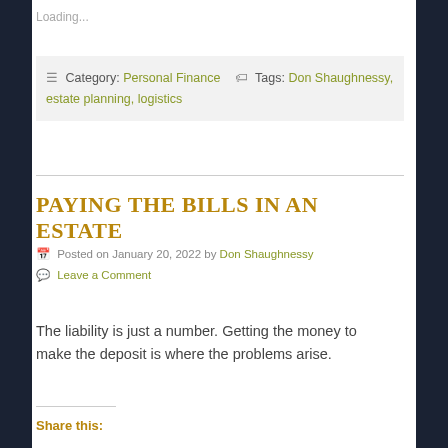Loading...
≡ Category: Personal Finance 🏷 Tags: Don Shaughnessy, estate planning, logistics
PAYING THE BILLS IN AN ESTATE
Posted on January 20, 2022 by Don Shaughnessy
Leave a Comment
The liability is just a number. Getting the money to make the deposit is where the problems arise.
Share this: